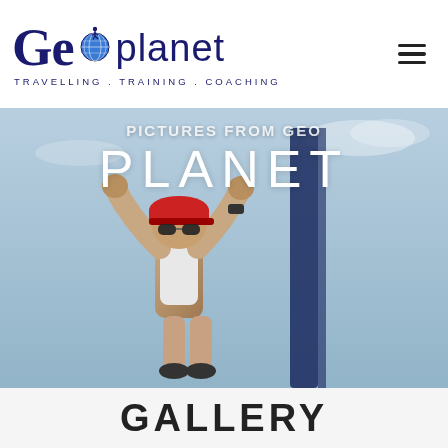[Figure (logo): GeoPlanet logo with globe icon, text 'Geo planet' in dark navy, tagline 'TRAVELLING . TRAINING . COACHING']
[Figure (photo): Hero background photo of a triathlete/runner with arms raised in celebration, wearing a cap and sunglasses, with a race banner/flag behind. Overlaid white text reads 'PLANET' in large letters and a partially visible top line.]
GALLERY